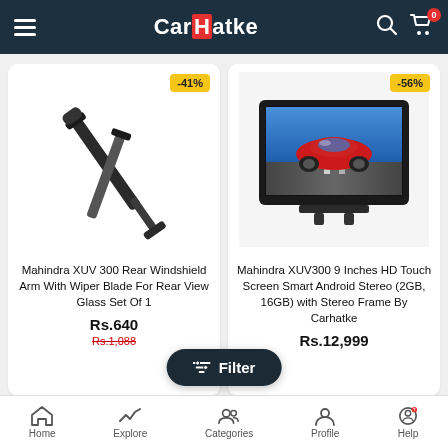CarHatke - navigation bar with menu, logo, search, cart
[Figure (photo): Mahindra XUV 300 rear wiper blade arm product photo with -41% discount badge]
Mahindra XUV 300 Rear Windshield Arm With Wiper Blade For Rear View Glass Set Of 1
Rs.640
Rs.1,088
[Figure (photo): Mahindra XUV300 9 inch Android car stereo touchscreen product photo with -56% discount badge]
Mahindra XUV300 9 Inches HD Touch Screen Smart Android Stereo (2GB, 16GB) with Stereo Frame By Carhatke
Rs.12,999
Home | Explore | Categories | Profile | Help